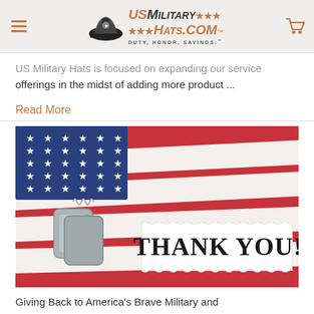USMilitary Hats.com™ — DUTY, HONOR, SAVINGS.™
US Military Hats is focused on expanding our service offerings in the midst of adding more product ...
Read More
[Figure (photo): American flag with military dog tags and a paper sign reading THANK YOU! laid on top of the flag]
Giving Back to America's Brave Military and